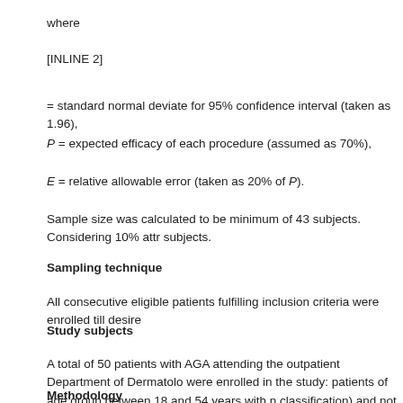where
= standard normal deviate for 95% confidence interval (taken as 1.96),
P = expected efficacy of each procedure (assumed as 70%),
E = relative allowable error (taken as 20% of P).
Sample size was calculated to be minimum of 43 subjects. Considering 10% attr subjects.
Sampling technique
All consecutive eligible patients fulfilling inclusion criteria were enrolled till desire
Study subjects
A total of 50 patients with AGA attending the outpatient Department of Dermatolo were enrolled in the study: patients of age group between 18 and 54 years with n classification) and not taking any treatment for last 6 months. Patients with any s hemodynamic instability, heavy nicotine, drug and alcohol consumption, and unr
Methodology